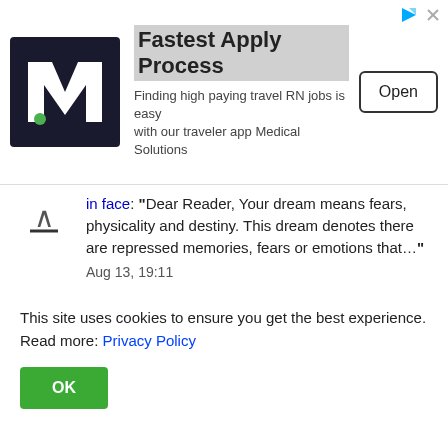[Figure (other): Advertisement banner: Medical Solutions logo (M), headline 'Fastest Apply Process', description text, and Open button]
in face: “Dear Reader, Your dream means fears, physicality and destiny. This dream denotes there are repressed memories, fears or emotions that…” Aug 13, 19:11
Carla on Dream about broken glass in face: “I dreamed my ex was smashing the side of my face into pictures glass and breaking it with my face” Aug 13, 19:10
This site uses cookies to ensure you get the best experience. Read more: Privacy Policy
OK